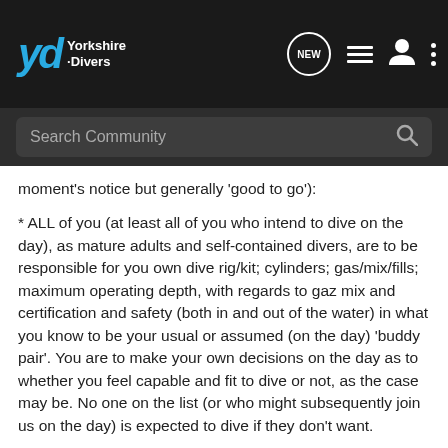Yorkshire Divers - navigation bar with Search Community search field
moment's notice but generally 'good to go'):
* ALL of you (at least all of you who intend to dive on the day), as mature adults and self-contained divers, are to be responsible for you own dive rig/kit; cylinders; gas/mix/fills; maximum operating depth, with regards to gaz mix and certification and safety (both in and out of the water) in what you know to be your usual or assumed (on the day) 'buddy pair'. You are to make your own decisions on the day as to whether you feel capable and fit to dive or not, as the case may be. No one on the list (or who might subsequently join us on the day) is expected to dive if they don't want.
* This YD 'gathering' shall not be, in anyway, considered a training session - unless you broker your own arrangements